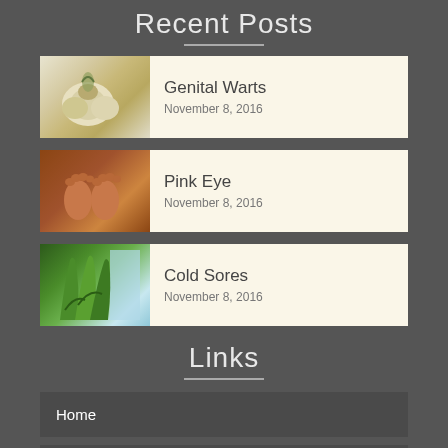Recent Posts
Genital Warts
November 8, 2016
Pink Eye
November 8, 2016
Cold Sores
November 8, 2016
Links
Home
Privacy Policy
Translate »